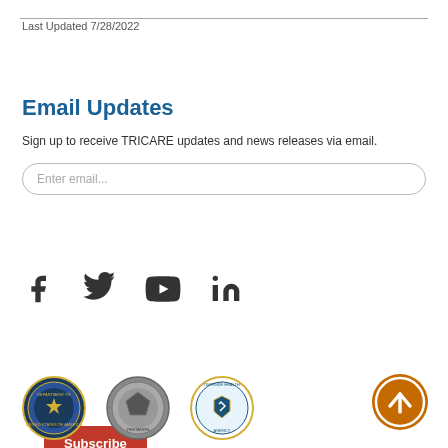Last Updated 7/28/2022
Email Updates
Sign up to receive TRICARE updates and news releases via email.
[Figure (screenshot): Email input field with placeholder text 'Enter email...']
[Figure (screenshot): Red Subscribe button]
[Figure (infographic): Social media icons: Facebook, Twitter, YouTube, LinkedIn]
[Figure (logo): Three government logos: Department of Defense seal, Pentagon seal, Defense Health Agency seal]
[Figure (other): Orange circular back-to-top arrow button]